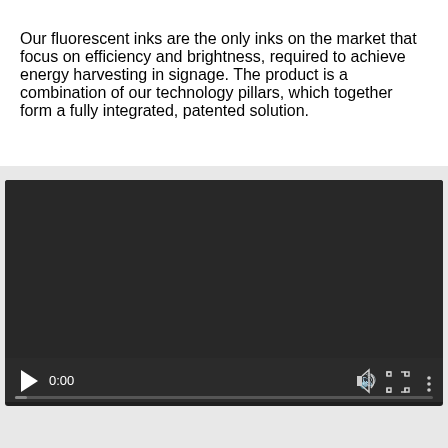Our fluorescent inks are the only inks on the market that focus on efficiency and brightness, required to achieve energy harvesting in signage. The product is a combination of our technology pillars, which together form a fully integrated, patented solution.
[Figure (other): A video player with dark background showing 0:00 timestamp, play button, volume icon, fullscreen icon, and a menu icon. Progress bar at the bottom.]